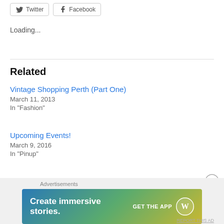[Figure (other): Twitter and Facebook social share buttons]
Loading...
Related
Vintage Shopping Perth (Part One)
March 11, 2013
In "Fashion"
Upcoming Events!
March 9, 2016
In "Pinup"
Perth Pinup Events on this week!
December 4, 2014
Advertisements
[Figure (illustration): WordPress advertisement banner: 'Create immersive stories. GET THE APP' with WordPress logo, gradient background from blue to green-yellow]